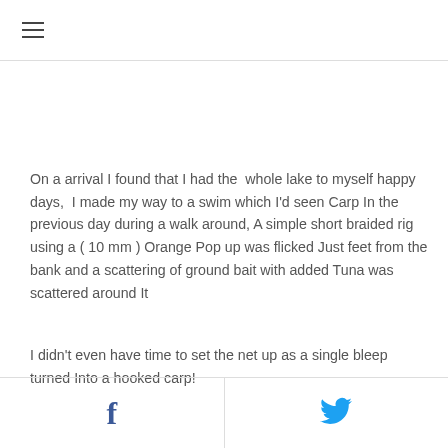☰
On a arrival I found that I had the  whole lake to myself happy days,  I made my way to a swim which I'd seen Carp In the previous day during a walk around, A simple short braided rig using a ( 10 mm ) Orange Pop up was flicked Just feet from the bank and a scattering of ground bait with added Tuna was scattered around It
I didn't even have time to set the net up as a single bleep turned Into a hooked carp!
f  [twitter bird icon]